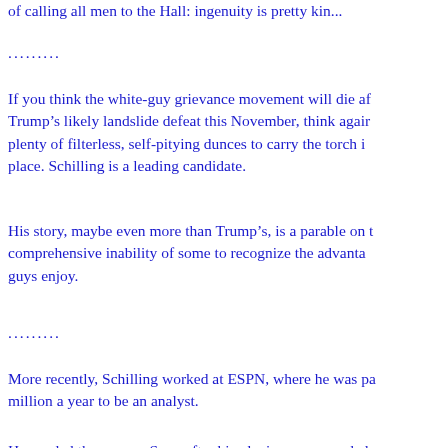of calling all men to the Hall: ingenuity is pretty kin...
..........
If you think the white-guy grievance movement will die after Trump's likely landslide defeat this November, think again. There are plenty of filterless, self-pitying dunces to carry the torch in his place. Schilling is a leading candidate.
His story, maybe even more than Trump's, is a parable on the comprehensive inability of some to recognize the advantages white guys enjoy.
..........
More recently, Schilling worked at ESPN, where he was paid $3 million a year to be an analyst.
He needed the money. Soon after his playing career ended, he lost a $50 million fortune on a failed video game venture, a fiasco that cost Rhode Island taxpayers $75 million.
After that, he fell back into the ESPN gig, which should ha...